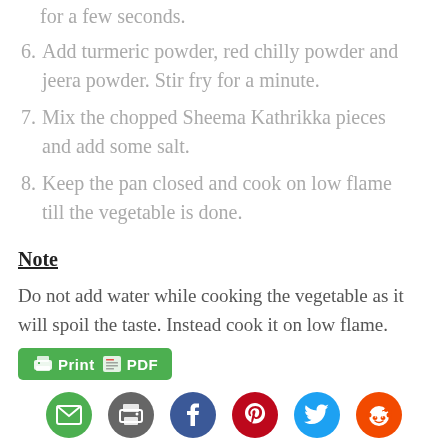for a few seconds.
6. Add turmeric powder, red chilly powder and jeera powder. Stir fry for a minute.
7. Mix the chopped Sheema Kathrikka pieces and add some salt.
8. Keep the pan closed and cook on low flame till the vegetable is done.
Note
Do not add water while cooking the vegetable as it will spoil the taste. Instead cook it on low flame.
[Figure (other): Print PDF button (green) and social media share icons: email, print, Facebook, Pinterest, Twitter, Reddit]